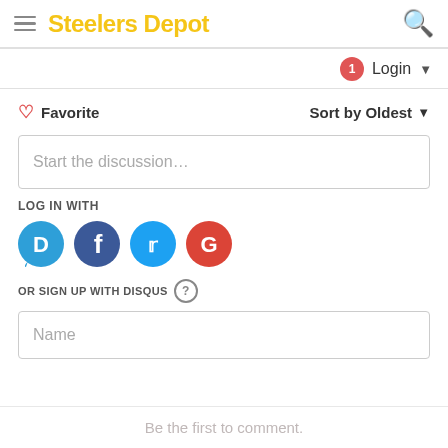Steelers Depot
1  Login
Favorite   Sort by Oldest
Start the discussion...
LOG IN WITH
[Figure (illustration): Four social login icons: Disqus (blue speech bubble with D), Facebook (dark blue circle with f), Twitter (light blue circle with bird), Google (red circle with G)]
OR SIGN UP WITH DISQUS ?
Name
Be the first to comment.